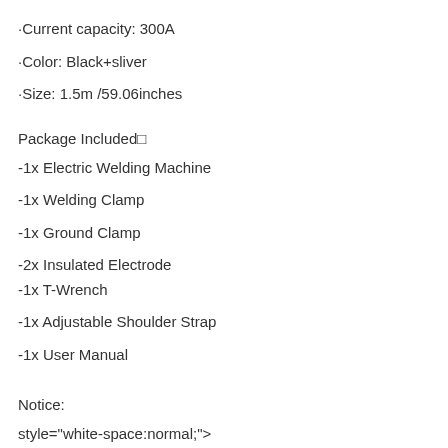·Current capacity: 300A
·Color: Black+sliver
·Size: 1.5m /59.06inches
Package Included￼
-1x Electric Welding Machine
-1x Welding Clamp
-1x Ground Clamp
-2x Insulated Electrode
-1x T-Wrench
-1x Adjustable Shoulder Strap
-1x User Manual
Notice:
style="white-space:normal;">